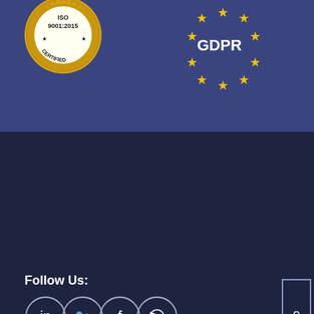[Figure (logo): ISO 9001:2015 Certified gold seal badge]
[Figure (logo): GDPR compliance badge with EU stars on dark blue background]
Follow Us:
[Figure (illustration): Social media icons: LinkedIn, Twitter, Facebook, YouTube in circle outlines]
[Figure (other): REQUEST A DEMO vertical button on right side]
Privacy Policy | Terms of service | Copyrights 2022 © Serosoft Solutions Pvt Ltd. All Rights Reserved.
Disclaimer: The information contained herein (including any accompanying documents) is intended solely for the addressee(s). We don't accept any responsibility (liability),financial/ legal for facts/